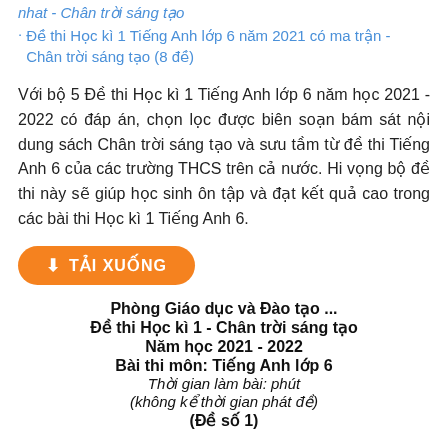nhat - Chan troi sang tao
Đề thi Học kì 1 Tiếng Anh lớp 6 năm 2021 có ma trận - Chân trời sáng tạo (8 đề)
Với bộ 5 Đề thi Học kì 1 Tiếng Anh lớp 6 năm học 2021 - 2022 có đáp án, chọn lọc được biên soạn bám sát nội dung sách Chân trời sáng tạo và sưu tầm từ đề thi Tiếng Anh 6 của các trường THCS trên cả nước. Hi vọng bộ đề thi này sẽ giúp học sinh ôn tập và đạt kết quả cao trong các bài thi Học kì 1 Tiếng Anh 6.
[Figure (other): Orange download button with download icon and text TẢI XUỐNG]
Phòng Giáo dục và Đào tạo ...
Đề thi Học kì 1 - Chân trời sáng tạo
Năm học 2021 - 2022
Bài thi môn: Tiếng Anh lớp 6
Thời gian làm bài: phút
(không kể thời gian phát đề)
(Đề số 1)